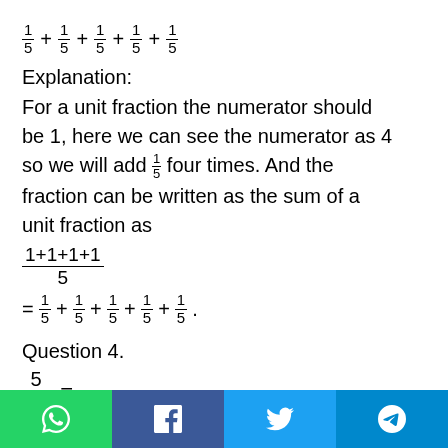Explanation:
For a unit fraction the numerator should be 1, here we can see the numerator as 4 so we will add 1/5 four times. And the fraction can be written as the sum of a unit fraction as
Question 4.